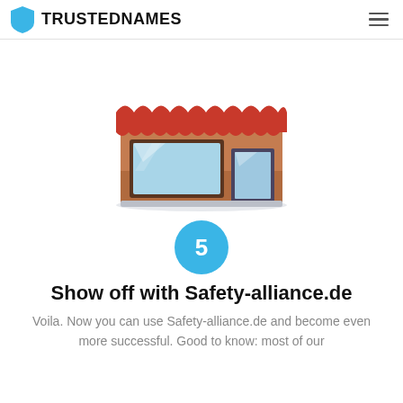TRUSTEDNAMES
[Figure (illustration): Flat illustration of a retail store front with red and white striped awning, display windows, and a door.]
5
Show off with Safety-alliance.de
Voila. Now you can use Safety-alliance.de and become even more successful. Good to know: most of our